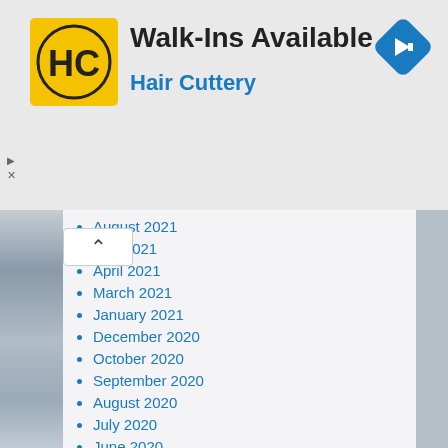[Figure (logo): Hair Cuttery logo — yellow square with 'HC' monogram]
Walk-Ins Available
Hair Cuttery
[Figure (other): Blue diamond navigation arrow icon]
August 2021
July 2021
April 2021
March 2021
January 2021
December 2020
October 2020
September 2020
August 2020
July 2020
June 2020
May 2020
February 2020
December 2019
November 2019
October 2019
September 2019